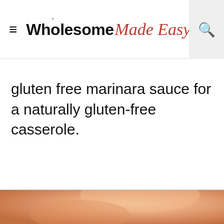Wholesome Made Easy
gluten free marinara sauce for a naturally gluten-free casserole.
[Figure (photo): Bottom portion of a food photo showing a casserole or dish, partially visible at the bottom of the page.]